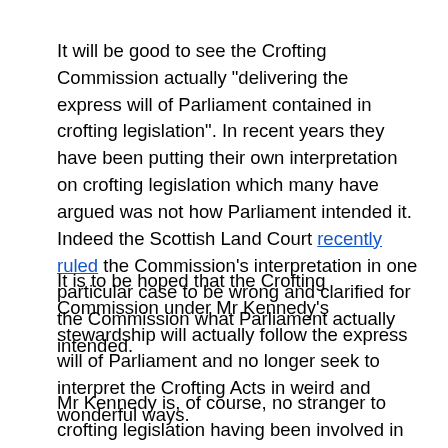It will be good to see the Crofting Commission actually “delivering the express will of Parliament contained in crofting legislation”. In recent years they have been putting their own interpretation on crofting legislation which many have argued was not how Parliament intended it. Indeed the Scottish Land Court recently ruled the Commission’s interpretation in one particular case to be wrong and clarified for the Commission what Parliament actually intended.
It is to be hoped that the Crofting Commission under Mr Kennedy’s stewardship will actually follow the express will of Parliament and no longer seek to interpret the Crofting Acts in weird and wonderful ways.
Mr Kennedy is, of course, no stranger to crofting legislation having been involved in a number of high profile personal battles in the Scottish Land Court, as the case regarding...